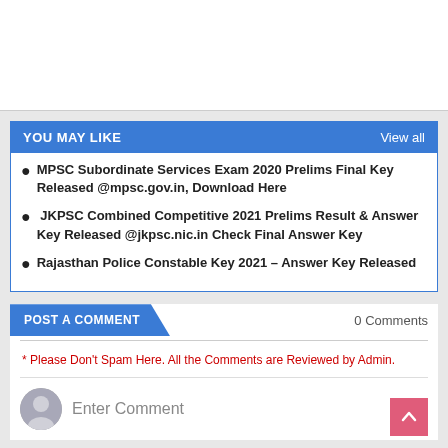YOU MAY LIKE | View all
MPSC Subordinate Services Exam 2020 Prelims Final Key Released @mpsc.gov.in, Download Here
JKPSC Combined Competitive 2021 Prelims Result & Answer Key Released @jkpsc.nic.in Check Final Answer Key
Rajasthan Police Constable Key 2021 – Answer Key Released
POST A COMMENT | 0 Comments
* Please Don't Spam Here. All the Comments are Reviewed by Admin.
Enter Comment